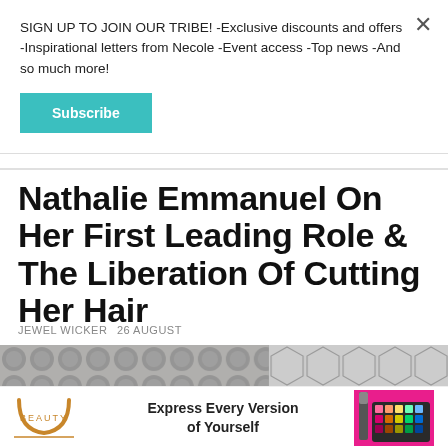SIGN UP TO JOIN OUR TRIBE! -Exclusive discounts and offers -Inspirational letters from Necole -Event access -Top news -And so much more!
Subscribe
Nathalie Emmanuel On Her First Leading Role & The Liberation Of Cutting Her Hair
JEWEL WICKER  26 AUGUST
[Figure (photo): Partial photo of a person with curly hair against a tiled wall background]
[Figure (photo): Ulta Beauty advertisement banner: Express Every Version of Yourself with makeup palette image]